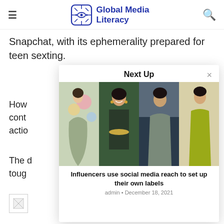Global Media Literacy
Snapchat, with its ephemerality prepared for teen sexting.
How cont actio
The d toug
[Figure (screenshot): Next Up modal overlay showing four influencer photos and article link 'Influencers use social media reach to set up their own labels' by admin, December 18, 2021]